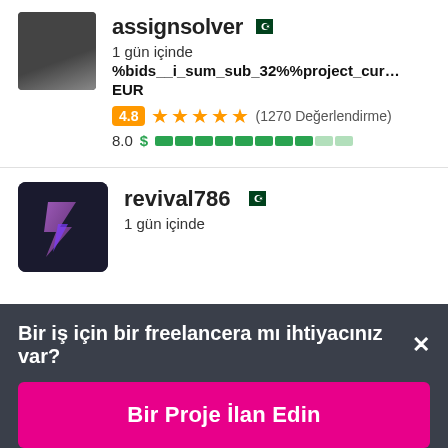assignsolver 🇵🇰
1 gün içinde
%bids__i_sum_sub_32%%project_currencyD
EUR
4.8 ★★★★★ (1270 Değerlendirme)
8.0 $ ▓▓▓▓▓▓▓▓▓░░
[Figure (photo): Profile photo of assignsolver user, dark background]
[Figure (logo): revival786 user avatar with purple R lightning bolt logo on dark background]
revival786 🇵🇰
1 gün içinde
Bir iş için bir freelancera mı ihtiyacınız var? ×
Bir Proje İlan Edin